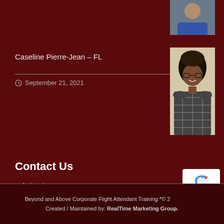[Figure (photo): Partial photo of a person (top of page, top-right corner)]
Caseline Pierre-Jean – FL
September 21, 2021
[Figure (photo): Photo of Caseline Pierre-Jean, a young woman with long dark hair and glasses, wearing a plaid top]
Contact Us
Tel: (954) 609-5600
Email: info@beyondandabove.net
2011 South Perimeter Rd.
Suite D & E.
Fort Lauderdale, FL 33309
Beyond and Above Corporate Flight Attendant Training *© 2  Created / Maintained by: RealTime Marketing Group.